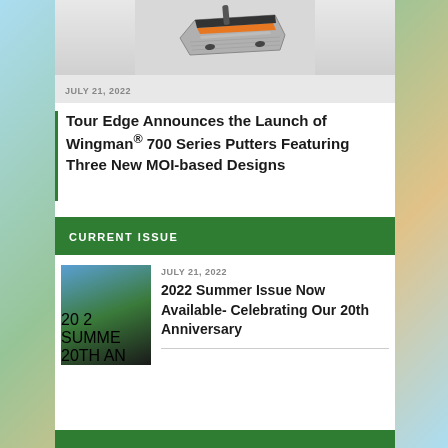[Figure (photo): Golf putter product photo - Wingman 700 series putter in gray and orange]
JULY 21, 2022
Tour Edge Announces the Launch of Wingman® 700 Series Putters Featuring Three New MOI-based Designs
CURRENT ISSUE
[Figure (photo): Magazine cover thumbnail - 2022 Summer Issue, 20th Anniversary edition with golf course image]
JULY 21, 2022
2022 Summer Issue Now Available- Celebrating Our 20th Anniversary